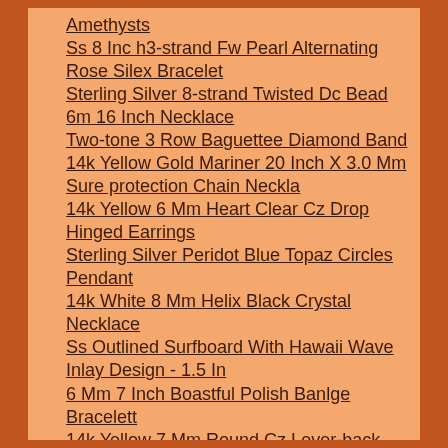Amethysts
Ss 8 Inc h3-strand Fw Pearl Alternating Rose Silex Bracelet
Sterling Silver 8-strand Twisted Dc Bead 6m 16 Inch Necklace
Two-tone 3 Row Baguettee Diamond Band
14k Yellow Gold Mariner 20 Inch X 3.0 Mm Sure protection Chain Neckla
14k Yellow 6 Mm Heart Clear Cz Drop Hinged Earrings
Sterling Silver Peridot Blue Topaz Circles Pendant
14k White 8 Mm Helix Black Crystal Necklace
Ss Outlined Surfboard With Hawaii Wave Inlay Design - 1.5 In
6 Mm 7 Inch Boastful Polish Banlge Bracelett
14k Yellow 7 Mm Round Cz Lever-back Earrings
Ss 7 Inch Eightt Run aground Mini Rolo With Center Heart Bracelet
14k Two-tone Birthda yCake 1.5 Mm Yelpow Sapohire Charm
41k Two-tone Two Butterfly Pendant
Sterling Silvrr Womens Continuous Heart And Open Prime Ring
10k Yellow 5x3 Mm Heart Opa1 And Diamond Pendant